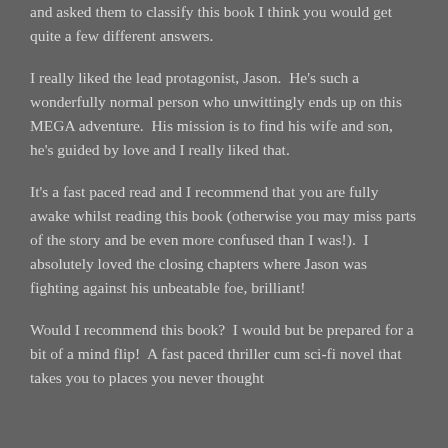and asked them to classify this book I think you would get quite a few different answers.
I really liked the lead protagonist, Jason.  He's such a wonderfully normal person who unwittingly ends up on this MEGA adventure.  His mission is to find his wife and son, he's guided by love and I really liked that.
It's a fast paced read and I recommend that you are fully awake whilst reading this book (otherwise you may miss parts of the story and be even more confused than I was!).  I absolutely loved the closing chapters where Jason was fighting against his unbeatable foe, brilliant!
Would I recommend this book?  I would but be prepared for a bit of a mind flip!  A fast paced thriller cum sci-fi novel that takes you to places you never thought